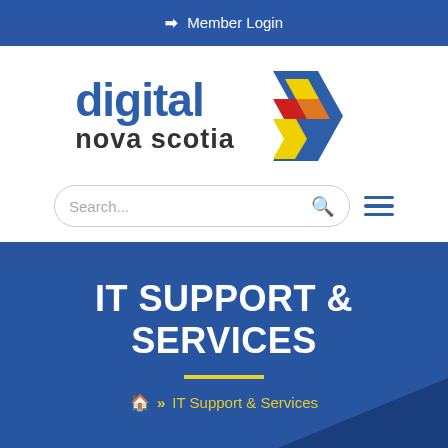➡] Member Login
[Figure (logo): Digital Nova Scotia logo with colored geometric arrow/chevron shape in blue, yellow, orange, and red]
Search...
IT SUPPORT & SERVICES
🏠 » IT Support & Services